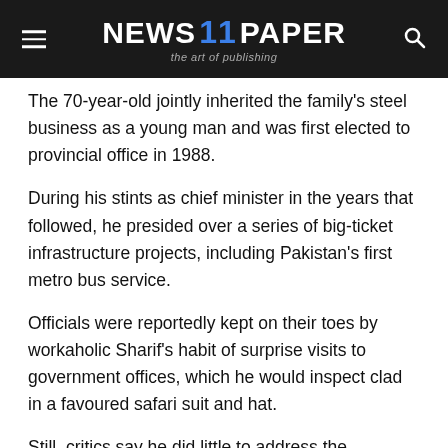NEWS 11 PAPER — the art of publishing
The 70-year-old jointly inherited the family's steel business as a young man and was first elected to provincial office in 1988.
During his stints as chief minister in the years that followed, he presided over a series of big-ticket infrastructure projects, including Pakistan's first metro bus service.
Officials were reportedly kept on their toes by workaholic Sharif's habit of surprise visits to government offices, which he would inspect clad in a favoured safari suit and hat.
Still, critics say he did little to address the province's core issues — including the need for civil service, health and